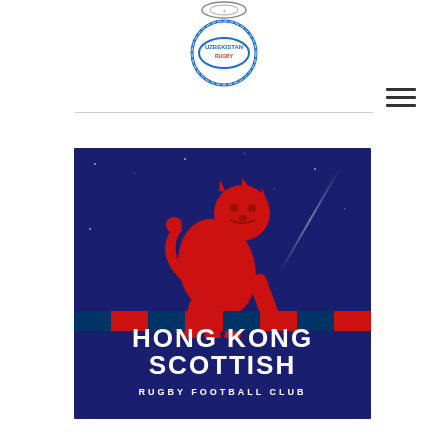[Figure (logo): Small circular rugby organization logo at top center]
[Figure (logo): Uzbekistan Rugby circular logo with globe/oval motif]
[Figure (logo): Hong Kong Scottish Rugby Football Club logo on dark blue background featuring a red rampant lion above clapperboard stripes and the club name text]
Hamburger/menu icon (three horizontal lines) at top right